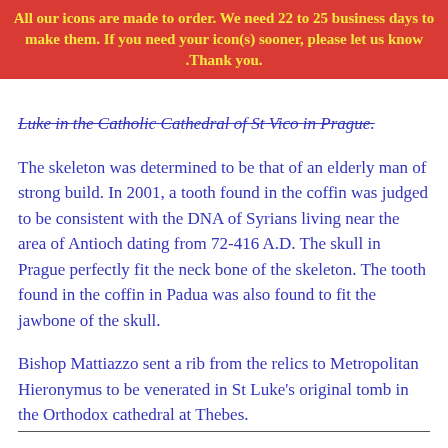All our icons are made to order. We need 22 to 25 business days to make them. If you need your icon(s) sooner, please let us know .Thank you.
Luke in the Catholic Cathedral of St Vico in Prague.
The skeleton was determined to be that of an elderly man of strong build. In 2001, a tooth found in the coffin was judged to be consistent with the DNA of Syrians living near the area of Antioch dating from 72-416 A.D. The skull in Prague perfectly fit the neck bone of the skeleton. The tooth found in the coffin in Padua was also found to fit the jawbone of the skull.
Bishop Mattiazzo sent a rib from the relics to Metropolitan Hieronymus to be venerated in St Luke's original tomb in the Orthodox cathedral at Thebes.
Reference: O.C.A.